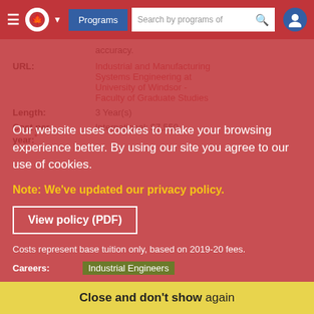Programs  Search by programs of
accuracy.
URL:  Industrial and Manufacturing Systems Engineering at University of Windsor - Faculty of Graduate Studies
Length:  3 Year(s)
Cost per year:*  International: $7,550
Our website uses cookies to make your browsing experience better. By using our site you agree to our use of cookies.
Note: We've updated our privacy policy.
View policy (PDF)
Costs represent base tuition only, based on 2019-20 fees.
Careers:  Industrial Engineers
Close and don't show again
Admission Requirements